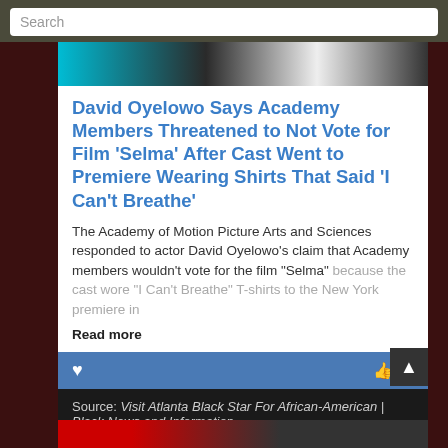Search
[Figure (photo): Partial image of a person wearing Adidas clothing visible at top]
David Oyelowo Says Academy Members Threatened to Not Vote for Film ‘Selma’ After Cast Went to Premiere Wearing Shirts That Said ‘I Can’t Breathe’
The Academy of Motion Picture Arts and Sciences responded to actor David Oyelowo’s claim that Academy members wouldn’t vote for the film “Selma” because the cast wore “I Can’t Breathe” T-shirts to the New York premiere in
Read more
Source: Visit Atlanta Black Star For African-American | Black News and Information
Sponsored by Diversity In Action